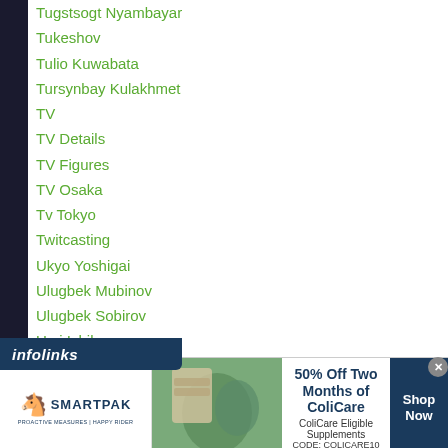Tugstsogt Nyambayar
Tukeshov
Tulio Kuwabata
Tursynbay Kulakhmet
TV
TV Details
TV Figures
TV Osaka
Tv Tokyo
Twitcasting
Ukyo Yoshigai
Ulugbek Mubinov
Ulugbek Sobirov
Umi Ishikawa
Unification
[Figure (infographic): Infolinks ad banner with SmartPak logo, horse supplement image, and '50% Off Two Months of ColiCare, ColiCare Eligible Supplements CODE: COLICARE10' text with 'Shop Now' button]